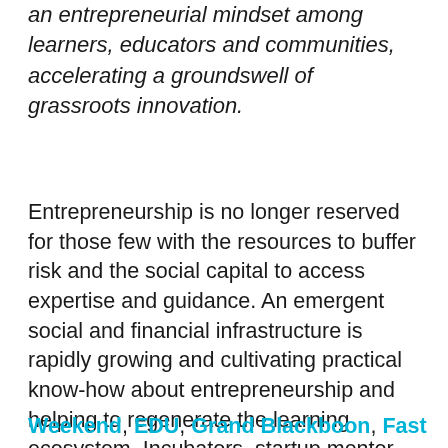an entrepreneurial mindset among learners, educators and communities, accelerating a groundswell of grassroots innovation.
Entrepreneurship is no longer reserved for those few with the resources to buffer risk and the social capital to access expertise and guidance. An emergent social and financial infrastructure is rapidly growing and cultivating practical know-how about entrepreneurship and helping to regenerate the learning ecosystem. Incubators, startup mentor networks, funding platforms, and innovation summits such as Startl, ImagineK12, Startup Weekend, EDU, Grand Blackboon, Fast, ...